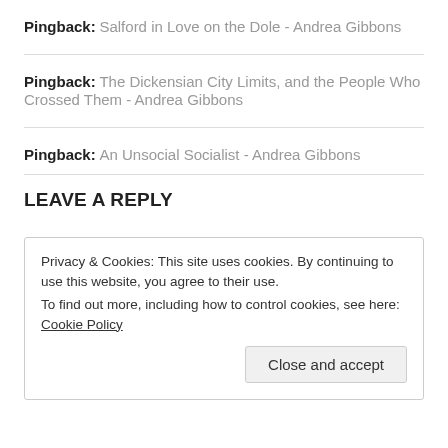Pingback: Salford in Love on the Dole - Andrea Gibbons
Pingback: The Dickensian City Limits, and the People Who Crossed Them - Andrea Gibbons
Pingback: An Unsocial Socialist - Andrea Gibbons
LEAVE A REPLY
Privacy & Cookies: This site uses cookies. By continuing to use this website, you agree to their use.
To find out more, including how to control cookies, see here: Cookie Policy